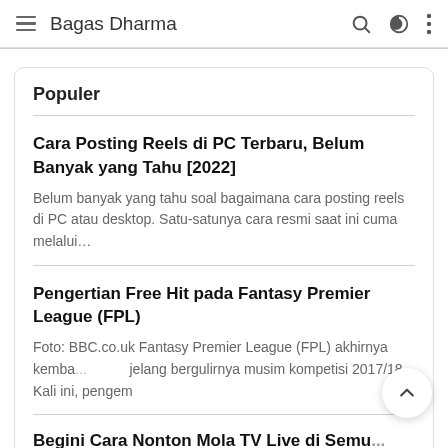≡ Bagas Dharma 🔍 🌙 ⋮
Populer
Cara Posting Reels di PC Terbaru, Belum Banyak yang Tahu [2022]
Belum banyak yang tahu soal bagaimana cara posting reels di PC atau desktop. Satu-satunya cara resmi saat ini cuma melalui…
Pengertian Free Hit pada Fantasy Premier League (FPL)
Foto: BBC.co.uk Fantasy Premier League (FPL) akhirnya kemba... jelang bergulirnya musim kompetisi 2017/18. Kali ini, pengem
Begini Cara Nonton Mola TV Live di Semu...